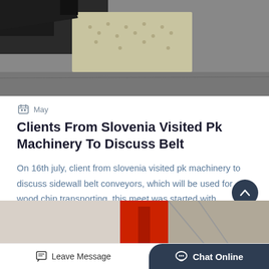[Figure (photo): Top image showing industrial conveyor belt machinery parts on a gray surface]
May
Clients From Slovenia Visited Pk Machinery To Discuss Belt
On 16th july, client from slovenia visited pk machinery to discuss sidewall belt conveyors, which will be used for wood chip transporting. this meet was started with company introduction, we…
Booking Now
[Figure (photo): Bottom image showing industrial facility with red and white structures]
Leave Message
Chat Online